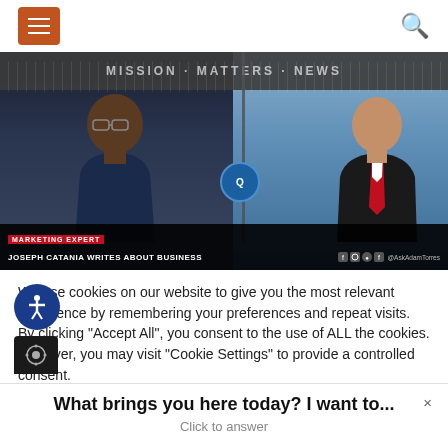Navigation header with hamburger menu and search icon
[Figure (screenshot): TV news broadcast screenshot showing two people: left panel has a man with glasses in a dark shirt in an office setting, right panel has a man in a black suit with red tie in front of a city skyline. Lower third bar reads 'MARKETING EXPERT' in red and 'JOSEPH CATANIA WRITES ABOUT BUSINESS'. Social media icons and @AskAdamTorres shown.]
We use cookies on our website to give you the most relevant experience by remembering your preferences and repeat visits. By clicking "Accept All", you consent to the use of ALL the cookies. However, you may visit "Cookie Settings" to provide a controlled consent.
What brings you here today? I want to...
Click to answer